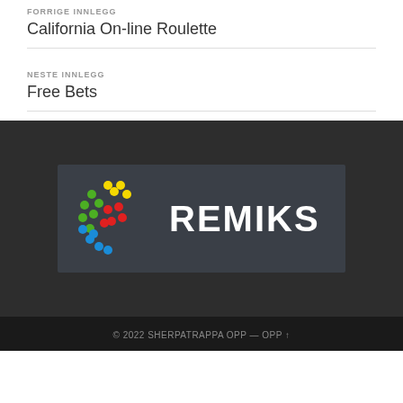FORRIGE INNLEGG
California On-line Roulette
NESTE INNLEGG
Free Bets
[Figure (logo): Remiks logo: colorful dot swirl on dark background with white REMIKS text]
© 2022 SHERPATRAPPA OPP — OPP ↑